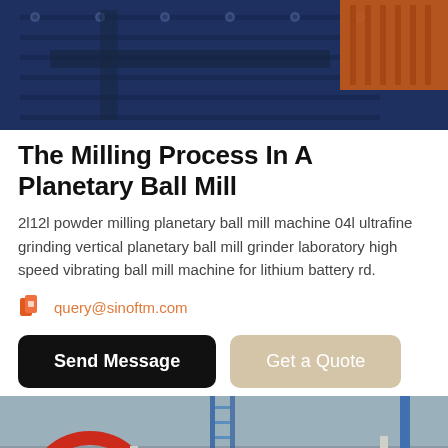[Figure (photo): Top view of industrial ball mill machinery with blue metal surface and orange components]
The Milling Process In A Planetary Ball Mill
2l12l powder milling planetary ball mill machine 04l ultrafine grinding vertical planetary ball mill grinder laboratory high speed vibrating ball mill machine for lithium battery rd.
query@sinoftm.com
Send Message | Get a Quote
[Figure (photo): Industrial machinery facility with large red and white wheels/rollers and metal scaffolding]
Leave Message
Chat Online